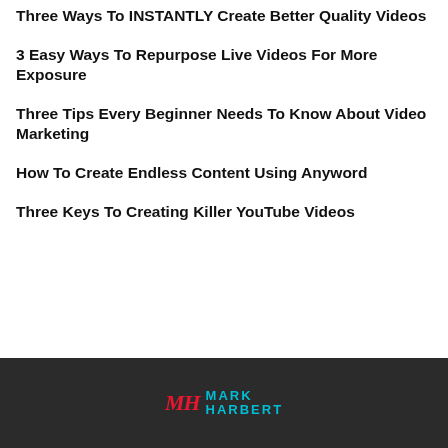Three Ways To INSTANTLY Create Better Quality Videos
3 Easy Ways To Repurpose Live Videos For More Exposure
Three Tips Every Beginner Needs To Know About Video Marketing
How To Create Endless Content Using Anyword
Three Keys To Creating Killer YouTube Videos
MH MARK HARBERT